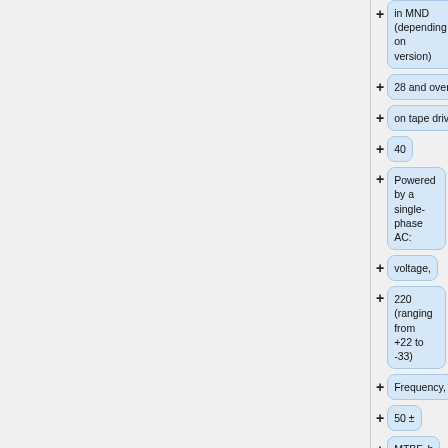in MND (depending on version)
28 and over
on tape drive
40
Powered by a single-phase AC:
voltage,
220 (ranging from +22 to -33)
Frequency, Hz
50 ±
MTBF, h
3200-1100
Mean time to